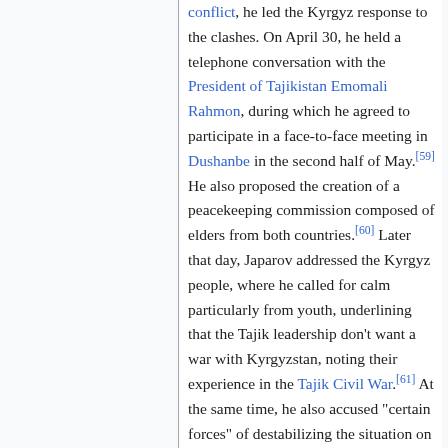conflict, he led the Kyrgyz response to the clashes. On April 30, he held a telephone conversation with the President of Tajikistan Emomali Rahmon, during which he agreed to participate in a face-to-face meeting in Dushanbe in the second half of May.[59] He also proposed the creation of a peacekeeping commission composed of elders from both countries.[60] Later that day, Japarov addressed the Kyrgyz people, where he called for calm particularly from youth, underlining that the Tajik leadership don't want a war with Kyrgyzstan, noting their experience in the Tajik Civil War.[61] At the same time, he also accused "certain forces" of destabilizing the situation on the border.[62] He declared 1 and 2 May as a period of nationwide mourning.[63]